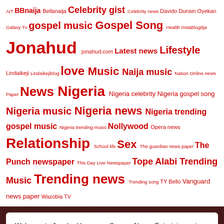AIT BBnaija Bellanaija Celebrity gist Celebrity news Davido Dunsin Oyekan Galaxy Tv gospel music Gospel Song Health Instablog9ja Jonahud jonahud.com Latest news Lifestyle Lindaikeji Lindaikejiblog love Music Naija music Nation Online news Paper News Nigeria Nigeria celebrity Nigeria gospel song Nigeria music Nigeria news Nigeria trending gospel music Nigeria trending music Nollywood Opera news Relationship School life Sex The guardian news paper The Punch newspaper This Day Live Newspaper Tope Alabi Trending Music Trending news Trending song TY Bello Vanguard news paper Wazobia TV
Welcome to Jonahud here we offer you News, Entertainment, Naija Music Download, Relationships and so much more.
Jonahud © 2021    Sitemap